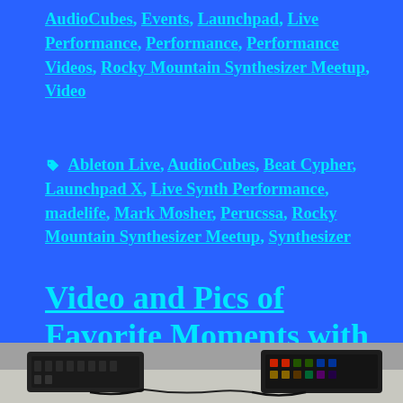AudioCubes, Events, Launchpad, Live Performance, Performance, Performance Videos, Rocky Mountain Synthesizer Meetup, Video
Ableton Live, AudioCubes, Beat Cypher, Launchpad X, Live Synth Performance, madelife, Mark Mosher, Perucssa, Rocky Mountain Synthesizer Meetup, Synthesizer
Video and Pics of Favorite Moments with Percussa AudioCubes from the First 9 Years
[Figure (photo): Partial photo strip at bottom of page showing electronic music equipment/synthesizers on a surface]